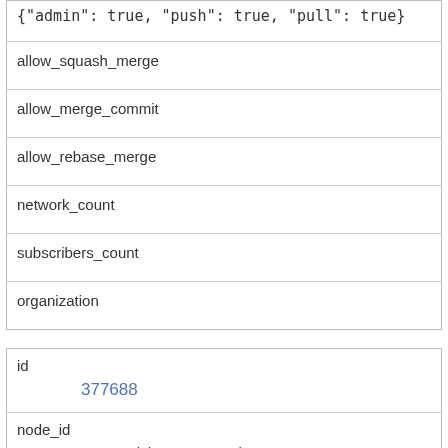| {"admin": true, "push": true, "pull": true} |
| allow_squash_merge |
| allow_merge_commit |
| allow_rebase_merge |
| network_count |
| subscribers_count |
| organization |
| id | 377688 |
| node_id | MDEwOlJlcG9zaXRvcnkzNzc2ODg= |
| name | node_debug |
| full_name |  |